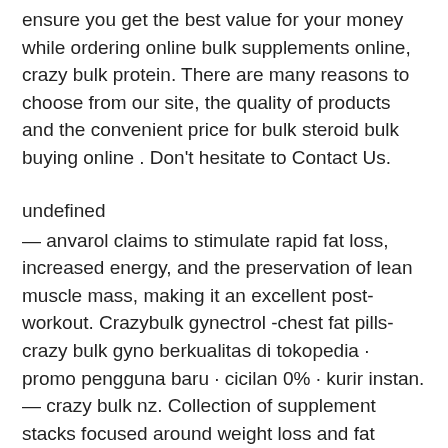ensure you get the best value for your money while ordering online bulk supplements online, crazy bulk protein. There are many reasons to choose from our site, the quality of products and the convenient price for bulk steroid bulk buying online . Don't hesitate to Contact Us.
undefined
— anvarol claims to stimulate rapid fat loss, increased energy, and the preservation of lean muscle mass, making it an excellent post-workout. Crazybulk gynectrol -chest fat pills- crazy bulk gyno berkualitas di tokopedia · promo pengguna baru · cicilan 0% · kurir instan. — crazy bulk nz. Collection of supplement stacks focused around weight loss and fat burning in both men and women. Sort by sort by — and the